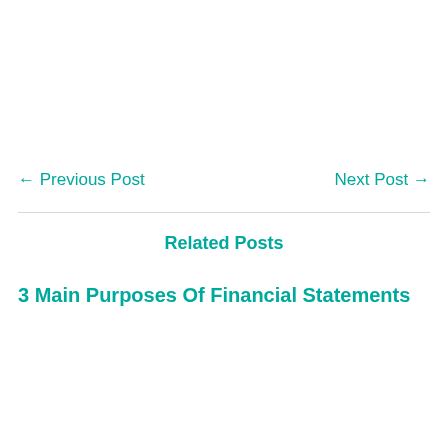← Previous Post
Next Post →
Related Posts
3 Main Purposes Of Financial Statements